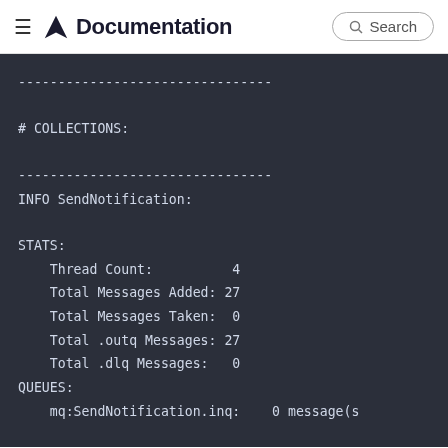≡ Documentation Search
--------------------------------

# COLLECTIONS:

--------------------------------
INFO SendNotification:

STATS:
    Thread Count:          4
    Total Messages Added: 27
    Total Messages Taken:  0
    Total .outq Messages: 27
    Total .dlq Messages:   0
QUEUES:
    mq:SendNotification.inq:    0 message(s